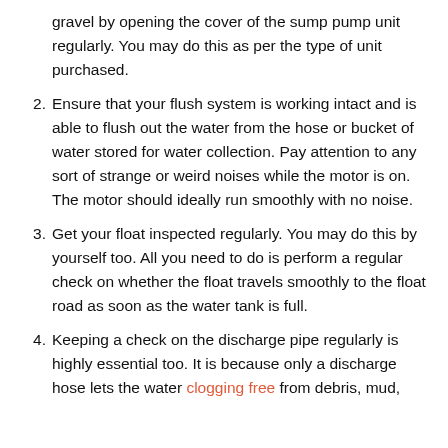gravel by opening the cover of the sump pump unit regularly. You may do this as per the type of unit purchased.
2. Ensure that your flush system is working intact and is able to flush out the water from the hose or bucket of water stored for water collection. Pay attention to any sort of strange or weird noises while the motor is on. The motor should ideally run smoothly with no noise.
3. Get your float inspected regularly. You may do this by yourself too. All you need to do is perform a regular check on whether the float travels smoothly to the float road as soon as the water tank is full.
4. Keeping a check on the discharge pipe regularly is highly essential too. It is because only a discharge hose lets the water clogging free from debris, mud,